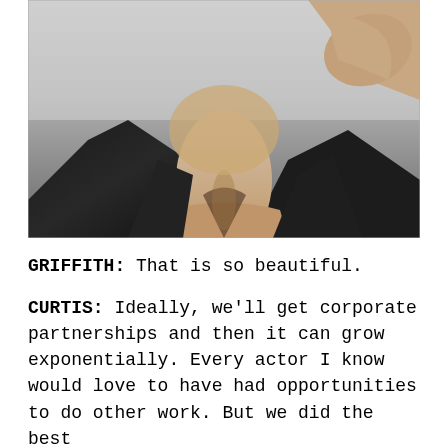[Figure (photo): Close-up black and white photograph of a person wearing a black jacket or blazer, with their hand raised near the back of their neck/head. The image shows the neck and lower face area, cropped so the face is not visible.]
GRIFFITH: That is so beautiful.
CURTIS: Ideally, we’ll get corporate partnerships and then it can grow exponentially. Every actor I know would love to have had opportunities to do other work. But we did the best